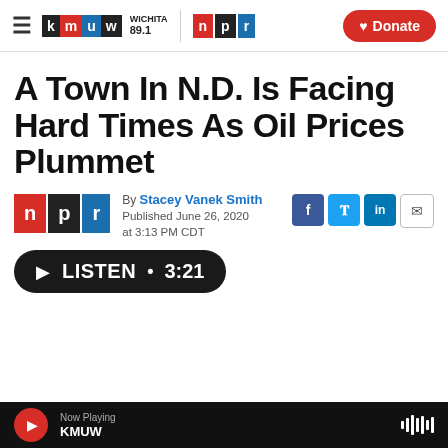KMUW WICHITA 89.1 | NPR | Donate
A Town In N.D. Is Facing Hard Times As Oil Prices Plummet
By Stacey Vanek Smith
Published June 26, 2020 at 3:13 PM CDT
LISTEN • 3:21
Now Playing KMUW